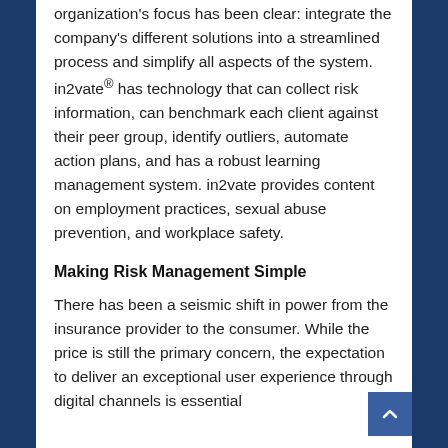organization's focus has been clear: integrate the company's different solutions into a streamlined process and simplify all aspects of the system. in2vate® has technology that can collect risk information, can benchmark each client against their peer group, identify outliers, automate action plans, and has a robust learning management system. in2vate provides content on employment practices, sexual abuse prevention, and workplace safety.
Making Risk Management Simple
There has been a seismic shift in power from the insurance provider to the consumer. While the price is still the primary concern, the expectation to deliver an exceptional user experience through digital channels is essential